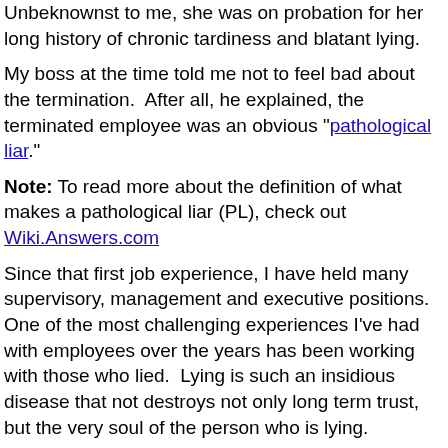Unbeknownst to me, she was on probation for her long history of chronic tardiness and blatant lying.
My boss at the time told me not to feel bad about the termination.  After all, he explained, the terminated employee was an obvious "pathological liar."
Note: To read more about the definition of what makes a pathological liar (PL), check out Wiki.Answers.com
Since that first job experience, I have held many supervisory, management and executive positions.  One of the most challenging experiences I've had with employees over the years has been working with those who lied.  Lying is such an insidious disease that not destroys not only long term trust, but the very soul of the person who is lying.